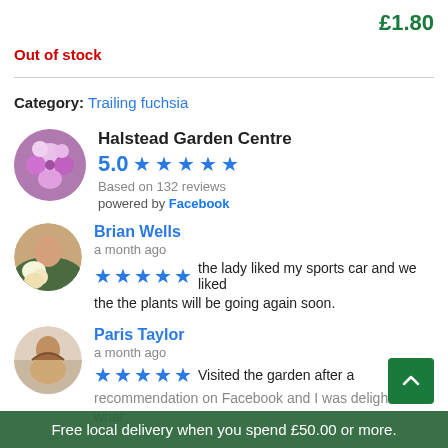£1.80
Out of stock
Category: Trailing fuchsia
Halstead Garden Centre
5.0 ★★★★★
Based on 132 reviews
powered by Facebook
Brian Wells
a month ago
★★★★★ the lady liked my sports car and we liked the the plants will be going again soon.
Paris Taylor
a month ago
★★★★★ Visited the garden after a recommendation on Facebook and I was delighted what
Free local delivery when you spend £50.00 or more.